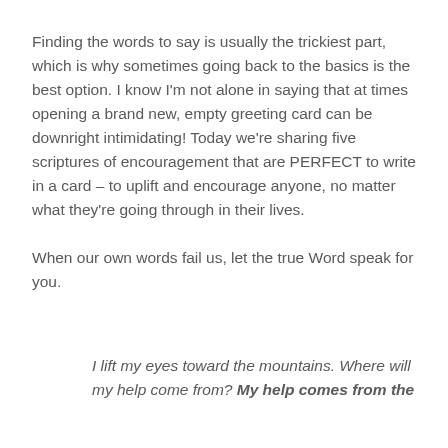Finding the words to say is usually the trickiest part, which is why sometimes going back to the basics is the best option. I know I'm not alone in saying that at times opening a brand new, empty greeting card can be downright intimidating! Today we're sharing five scriptures of encouragement that are PERFECT to write in a card – to uplift and encourage anyone, no matter what they're going through in their lives.
When our own words fail us, let the true Word speak for you.
I lift my eyes toward the mountains. Where will my help come from? My help comes from the